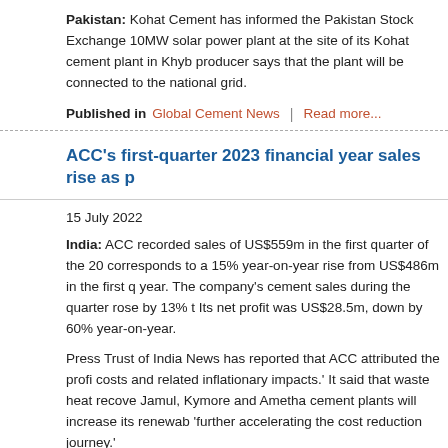Pakistan: Kohat Cement has informed the Pakistan Stock Exchange of a 10MW solar power plant at the site of its Kohat cement plant in Khyb producer says that the plant will be connected to the national grid.
Published in  Global Cement News  |  Read more...
ACC's first-quarter 2023 financial year sales rise as p
15 July 2022
India: ACC recorded sales of US$559m in the first quarter of the 20 corresponds to a 15% year-on-year rise from US$486m in the first q year. The company's cement sales during the quarter rose by 13% t Its net profit was US$28.5m, down by 60% year-on-year.
Press Trust of India News has reported that ACC attributed the prof costs and related inflationary impacts.' It said that waste heat recove Jamul, Kymore and Ametha cement plants will increase its renewab 'further accelerating the cost reduction journey.'
Published in  Global Cement News  |  Read more...